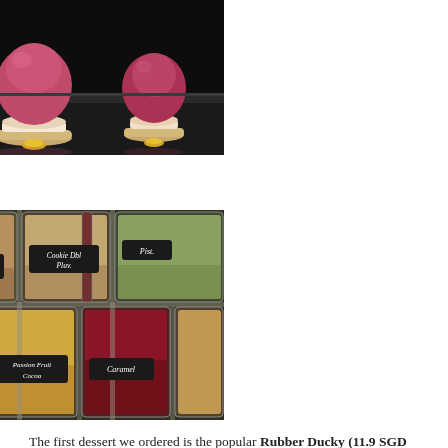[Figure (photo): Close-up photo of elegant desserts on a dark reflective surface — pink dome-shaped mousse cakes and macarons with gold bases in a patisserie display.]
[Figure (photo): Photo of a gelato display case showing multiple flavors in metal trays with handwritten black label signs including Exotic, Coffee, Cookie Dough, Lime, Passion Fruit Cocoa, Caramel, and other flavors.]
The first dessert we ordered is the popular Rubber Ducky (11.9 SGD / $9.5 / 33.5฿). This